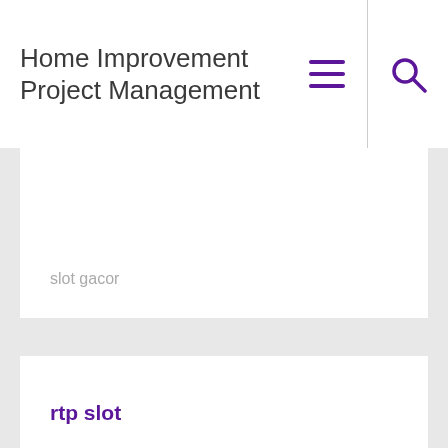Home Improvement Project Management
slot gacor
rtp slot
slot online